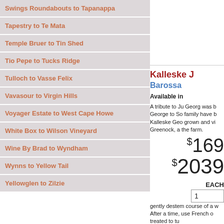Swings Roundabouts to Tapanappa
Tapestry to Te Mata
Temple Bruer to Tin Shed
Tio Pepe to Tucks Ridge
Tulloch to Vasse Felix
Vavasour to Virgin Hills
Voyager Estate to West Cape Howe
White Box to Wilson Vineyard
Wine By Brad to Wyndham
Wynns to Yellow Tail
Yellowglen to Zilzie
Kalleske J
Barossa
Available in
A tribute to Ju Georg was b George to So family have b Kalleske Geo grown and vi Greenock, a the farm.
$169
$2039
EACH
1
gently desten course of a w After a time, use French o treated to tu